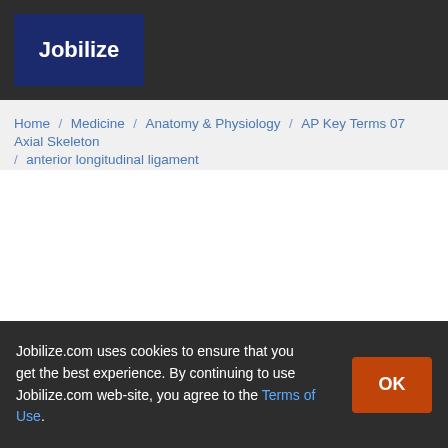Jobilize
Home / Medicine / Anatomy & Physiology / AP Key Terms 07 Axial Skeleton / anterior longitudinal ligament
Jobilize.com uses cookies to ensure that you get the best experience. By continuing to use Jobilize.com web-site, you agree to the Terms of Use.